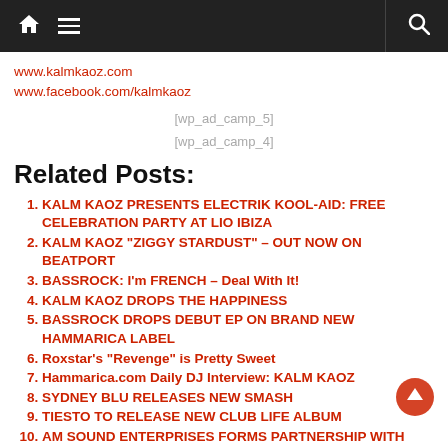Navigation bar with home icon, menu icon, and search icon
www.kalmkaoz.com
www.facebook.com/kalmkaoz
[wp_ad_camp_5]
[wp_ad_camp_4]
Related Posts:
KALM KAOZ PRESENTS ELECTRIK KOOL-AID: FREE CELEBRATION PARTY AT LIO IBIZA
KALM KAOZ "ZIGGY STARDUST" – OUT NOW ON BEATPORT
BASSROCK: I'm FRENCH – Deal With It!
KALM KAOZ DROPS THE HAPPINESS
BASSROCK DROPS DEBUT EP ON BRAND NEW HAMMARICA LABEL
Roxstar's "Revenge" is Pretty Sweet
Hammarica.com Daily DJ Interview: KALM KAOZ
SYDNEY BLU RELEASES NEW SMASH
TIESTO TO RELEASE NEW CLUB LIFE ALBUM
AM SOUND ENTERPRISES FORMS PARTNERSHIP WITH CANVAS...